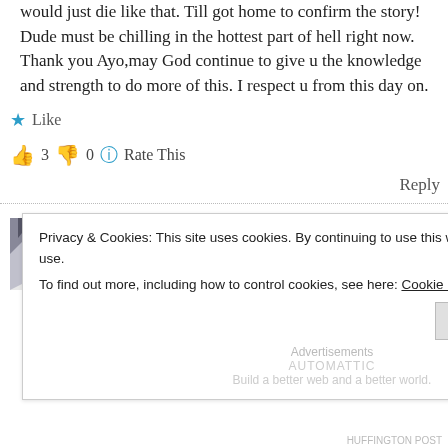would just die like that. Till got home to confirm the story! Dude must be chilling in the hottest part of hell right now. Thank you Ayo,may God continue to give u the knowledge and strength to do more of this. I respect u from this day on.
★ Like
👍 3 👎 0 ℹ Rate This
Reply
ORI TON SORO says: March 6, 2014 at 2:43 am
Privacy & Cookies: This site uses cookies. By continuing to use this website, you agree to their use. To find out more, including how to control cookies, see here: Cookie Policy
Close and accept